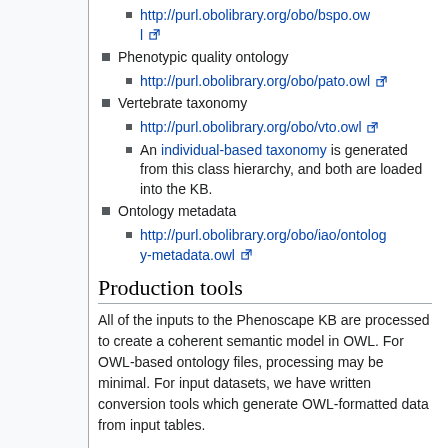http://purl.obolibrary.org/obo/bspo.owl [external link]
Phenotypic quality ontology
http://purl.obolibrary.org/obo/pato.owl [external link]
Vertebrate taxonomy
http://purl.obolibrary.org/obo/vto.owl [external link]
An individual-based taxonomy is generated from this class hierarchy, and both are loaded into the KB.
Ontology metadata
http://purl.obolibrary.org/obo/iao/ontology-metadata.owl [external link]
Production tools
All of the inputs to the Phenoscape KB are processed to create a coherent semantic model in OWL. For OWL-based ontology files, processing may be minimal. For input datasets, we have written conversion tools which generate OWL-formatted data from input tables.
Ph...